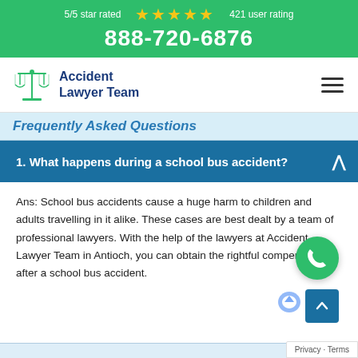5/5 star rated ★★★★★ 421 user rating
888-720-6876
[Figure (logo): Accident Lawyer Team logo with scales of justice icon]
Frequently Asked Questions
1. What happens during a school bus accident?
Ans: School bus accidents cause a huge harm to children and adults travelling in it alike. These cases are best dealt by a team of professional lawyers. With the help of the lawyers at Accident Lawyer Team in Antioch, you can obtain the rightful compensation after a school bus accident.